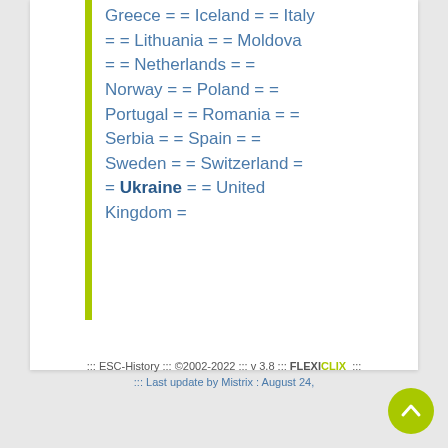Greece = = Iceland = = Italy = = Lithuania = = Moldova = = Netherlands = = Norway = = Poland = = Portugal = = Romania = = Serbia = = Spain = = Sweden = = Switzerland = = Ukraine = = United Kingdom =
::: ESC-History ::: ©2002-2022 ::: v 3.8 ::: FLEXICLIX ::: ::: Last update by Mistrix : August 24,